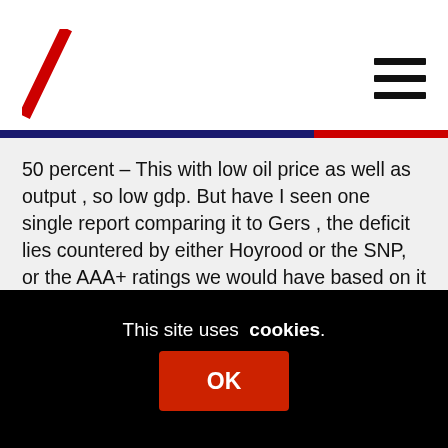Logo and navigation header
50 percent – This with low oil price as well as output , so low gdp. But have I seen one single report comparing it to Gers , the deficit lies countered by either Hoyrood or the SNP, or the AAA+ ratings we would have based on it , as well as low interest rates prolonged historically for investment? NO.
If non criticism is the response expected of the SNP from its members , or the wider indy II movement , then its time in the political peak is now at an end .
This site uses cookies.
OK